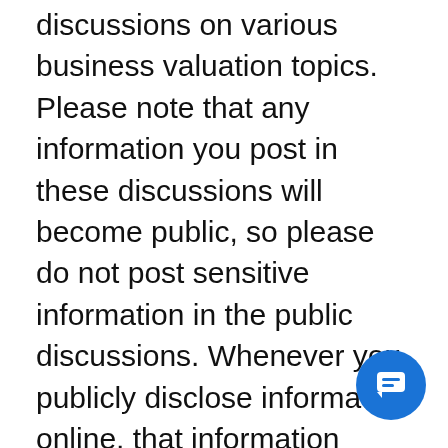discussions on various business valuation topics. Please note that any information you post in these discussions will become public, so please do not post sensitive information in the public discussions. Whenever you publicly disclose information online, that information could be collected and used by others. We are not responsible for any action or policies of any third parties who collect information that users disclose in any such forums on the web site. OPERATOR EDGE does not agree or disagree with
[Figure (other): Blue circular chat/messaging button icon in the bottom-right corner]